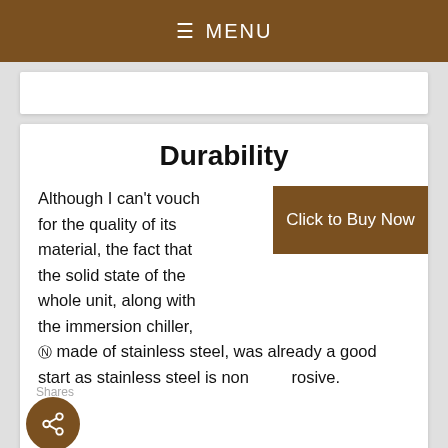≡ MENU
Durability
Although I can't vouch for the quality of its material, the fact that the solid state of the whole unit, along with the immersion chiller, ⓑ made of stainless steel, was already a good start as stainless steel is non rosive.
The perforated plate was a little thin but the vessel wasn't flimsy and was able to